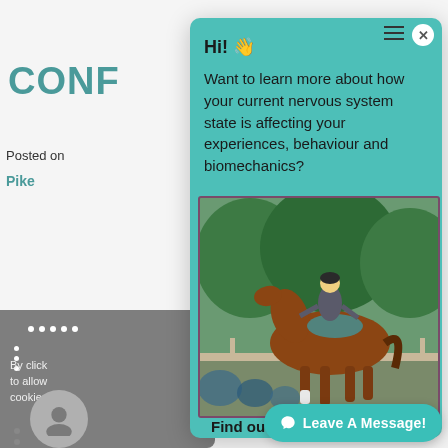CONF
Posted on
Pike
By click to allow cookies.
[Figure (screenshot): Chat popup widget overlaying a website. The popup has a teal background with text: 'Hi! 👋 Want to learn more about how your current nervous system state is affecting your experiences, behaviour and biomechanics?' with a photo of a rider on a horse, text 'Find out in my 2 minute Quiz!' and a purple TAKE button. A 'Leave A Message!' button appears in the bottom right.]
Hi! 👋
Want to learn more about how your current nervous system state is affecting your experiences, behaviour and biomechanics?
Find out in my 2 minute Quiz!
TAKE
🎙 Leave A Message!